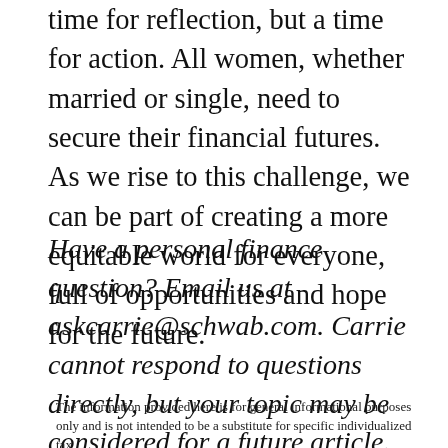time for reflection, but a time for action. All women, whether married or single, need to secure their financial futures. As we rise to this challenge, we can be part of creating a more equitable world for everyone, full of opportunities and hope for the future.
Have a personal finance question? Email us at askcarrie@schwab.com. Carrie cannot respond to questions directly, but your topic may be considered for a future article. For Schwab account questions and general inquiries, contact Schwab.
The information provided here is for general informational purposes only and is not intended to be a substitute for specific individualized tax,